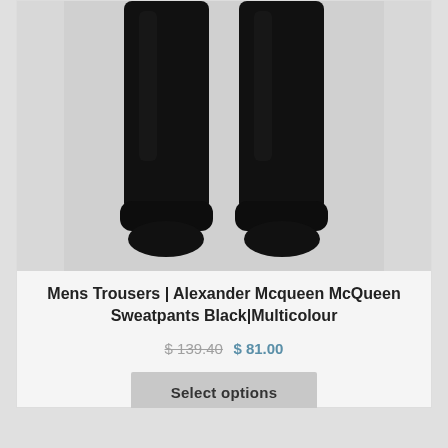[Figure (photo): Black Alexander McQueen sweatpants shown from the knees down, against a light gray background. Jogger-style with ribbed cuffs at the ankles.]
Mens Trousers | Alexander Mcqueen McQueen Sweatpants Black|Multicolour
$ 139.40 $ 81.00
Select options